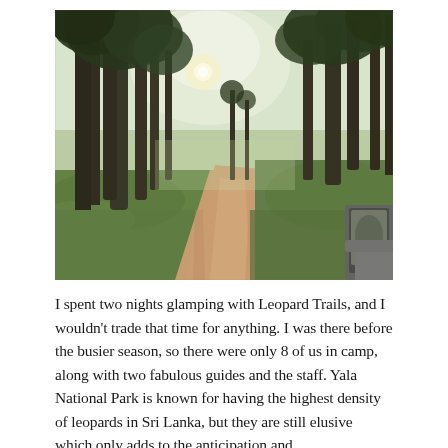[Figure (photo): A dirt road winding through a lush green forest with tall trees on both sides. Sunlight filters through the trees on the left. A vehicle side mirror is visible in the lower right corner, suggesting the photo was taken from inside a vehicle moving along the track.]
I spent two nights glamping with Leopard Trails, and I wouldn't trade that time for anything. I was there before the busier season, so there were only 8 of us in camp, along with two fabulous guides and the staff. Yala National Park is known for having the highest density of leopards in Sri Lanka, but they are still elusive which only adds to the anticipation and